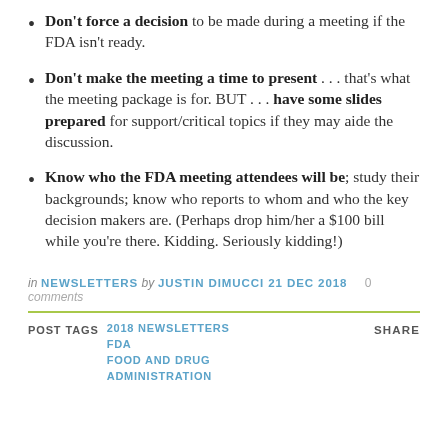Don't force a decision to be made during a meeting if the FDA isn't ready.
Don't make the meeting a time to present . . . that's what the meeting package is for. BUT . . . have some slides prepared for support/critical topics if they may aide the discussion.
Know who the FDA meeting attendees will be; study their backgrounds; know who reports to whom and who the key decision makers are. (Perhaps drop him/her a $100 bill while you're there. Kidding. Seriously kidding!)
in NEWSLETTERS by JUSTIN DIMUCCI 21 DEC 2018  0 comments
POST TAGS  2018 NEWSLETTERS  FDA  FOOD AND DRUG  ADMINISTRATION  SHARE